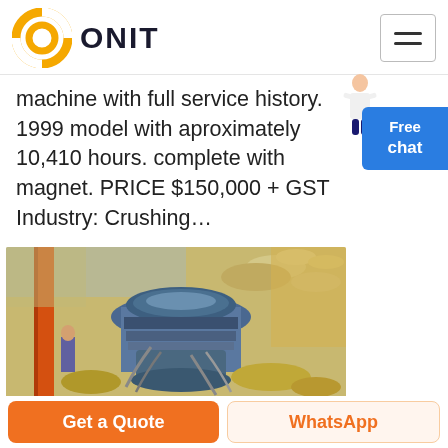ONIT
machine with full service history. 1999 model with aproximately 10,410 hours. complete with magnet. PRICE $150,000 + GST Industry: Crushing…
[Figure (photo): Industrial cone crusher machine at a quarry/crushing site, surrounded by gravel and rocks, with orange support structures visible.]
Get a Quote | WhatsApp